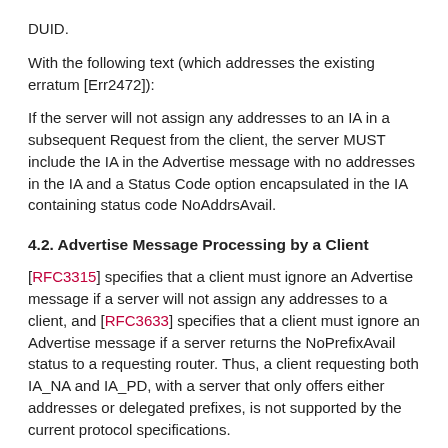DUID.
With the following text (which addresses the existing erratum [Err2472]):
If the server will not assign any addresses to an IA in a subsequent Request from the client, the server MUST include the IA in the Advertise message with no addresses in the IA and a Status Code option encapsulated in the IA containing status code NoAddrsAvail.
4.2. Advertise Message Processing by a Client
[RFC3315] specifies that a client must ignore an Advertise message if a server will not assign any addresses to a client, and [RFC3633] specifies that a client must ignore an Advertise message if a server returns the NoPrefixAvail status to a requesting router. Thus, a client requesting both IA_NA and IA_PD, with a server that only offers either addresses or delegated prefixes, is not supported by the current protocol specifications.